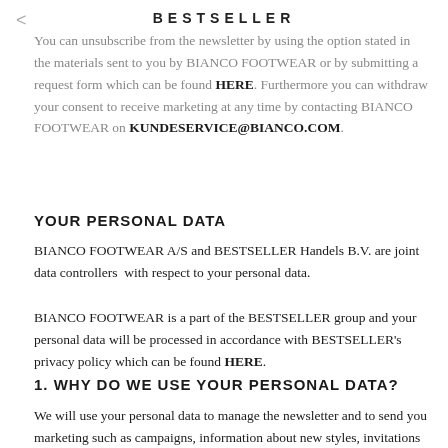BESTSELLER
You can unsubscribe from the newsletter by using the option stated in the materials sent to you by BIANCO FOOTWEAR or by submitting a request form which can be found HERE. Furthermore you can withdraw your consent to receive marketing at any time by contacting BIANCO FOOTWEAR on KUNDESERVICE@BIANCO.COM.
YOUR PERSONAL DATA
BIANCO FOOTWEAR A/S and BESTSELLER Handels B.V. are joint data controllers  with respect to your personal data.
BIANCO FOOTWEAR is a part of the BESTSELLER group and your personal data will be processed in accordance with BESTSELLER's privacy policy which can be found HERE.
1. WHY DO WE USE YOUR PERSONAL DATA?
We will use your personal data to manage the newsletter and to send you marketing such as campaigns, information about new styles, invitations etc. To optimize your shopping experience we strive to send you marketing which match your interests and to send